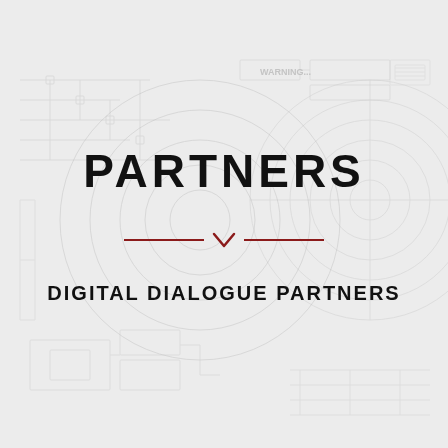[Figure (illustration): Light grey technical/engineering schematic background with circuit diagrams, concentric circles, warning text, and grid-like overlays]
PARTNERS
[Figure (illustration): Decorative horizontal divider: two short dark red horizontal lines flanking a downward-pointing dark red chevron/arrow]
DIGITAL DIALOGUE PARTNERS